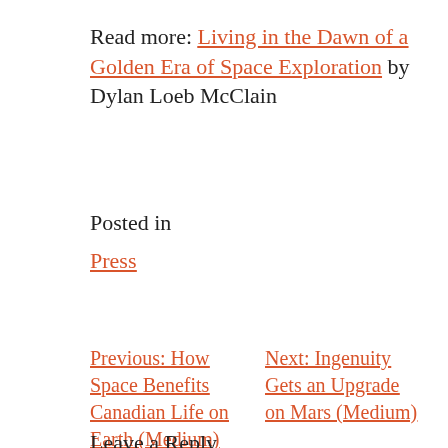Read more: Living in the Dawn of a Golden Era of Space Exploration by Dylan Loeb McClain
Posted in
Press
Previous: How Space Benefits Canadian Life on Earth (Medium)
Next: Ingenuity Gets an Upgrade on Mars (Medium)
Leave a Reply